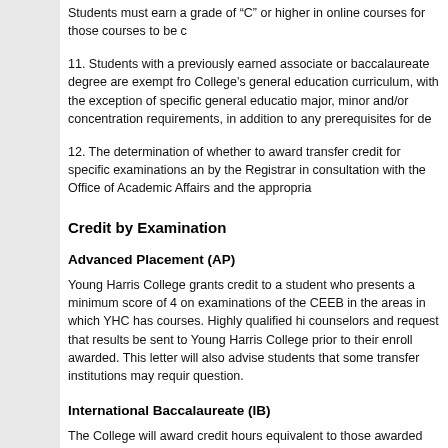Students must earn a grade of "C" or higher in online courses for those courses to be c
11. Students with a previously earned associate or baccalaureate degree are exempt fro College's general education curriculum, with the exception of specific general educatio major, minor and/or concentration requirements, in addition to any prerequisites for de
12. The determination of whether to award transfer credit for specific examinations an by the Registrar in consultation with the Office of Academic Affairs and the appropria
Credit by Examination
Advanced Placement (AP)
Young Harris College grants credit to a student who presents a minimum score of 4 on examinations of the CEEB in the areas in which YHC has courses. Highly qualified hi counselors and request that results be sent to Young Harris College prior to their enroll awarded. This letter will also advise students that some transfer institutions may requir question.
International Baccalaureate (IB)
The College will award credit hours equivalent to those awarded for completion of the required. Students will be notified in writing if academic credit is awarded. This letter require a higher score in order to grant credit for the course in question.